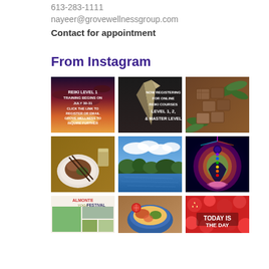613-283-1111
nayeer@grovewellnessgroup.com
Contact for appointment
From Instagram
[Figure (photo): Instagram grid of 9 images: Row 1: Reiki Level 1 training announcement on sunset sky, crystal/gemstone promotional image for online Reiki courses levels 1 2 master, herbal/natural health products. Row 2: Colorful food dish on plate, lake/landscape photo, colorful chakra meditation illustration. Row 3 (partial): Almonte Yoga Festival poster, colorful food bowl, Today is the day text on red/strawberry background.]